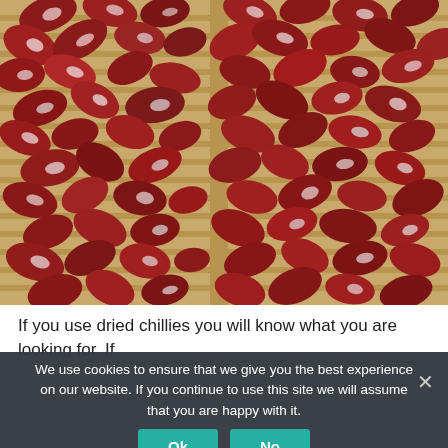[Figure (photo): Overhead view of halved dried chillies laid out on wooden drying racks, showing deep red color with visible seeds and white pith, two racks side by side]
If you use dried chillies you will know what you are looking for. If
We use cookies to ensure that we give you the best experience on our website. If you continue to use this site we will assume that you are happy with it.